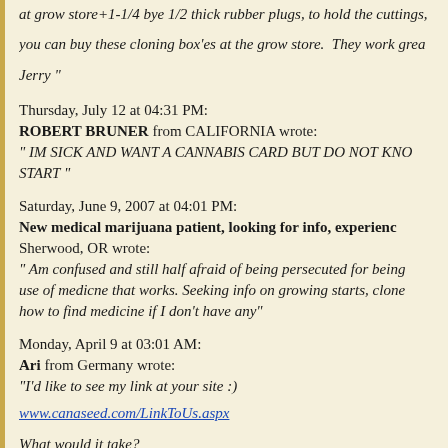at grow store+1-1/4 bye 1/2 thick rubber plugs, to hold the cuttings you can buy these cloning box'es at the grow store. They work grea
Jerry "
Thursday, July 12 at 04:31 PM:
ROBERT BRUNER from CALIFORNIA wrote:
" IM SICK AND WANT A CANNABIS CARD BUT DO NOT KNO START "
Saturday, June 9, 2007 at 04:01 PM:
New medical marijuana patient, looking for info, experienc Sherwood, OR wrote:
" Am confused and still half afraid of being persecuted for being use of medicne that works. Seeking info on growing starts, clone how to find medicine if I don't have any"
Monday, April 9 at 03:01 AM:
Ari from Germany wrote:
"I'd like to see my link at your site :)
www.canaseed.com/LinkToUs.aspx
What would it take?
Thanks